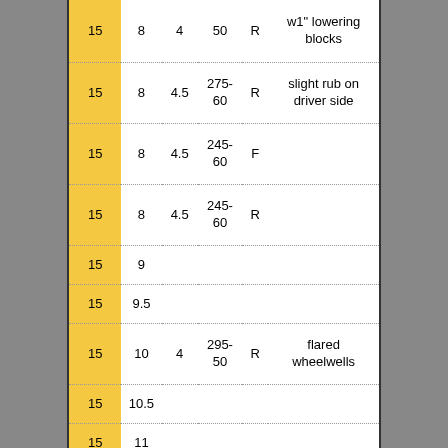| Rim | Width | ET | Tire | Pos | Notes |
| --- | --- | --- | --- | --- | --- |
| 15 | 8 | 4 | 50 | R | w1" lowering blocks |
| 15 | 8 | 4.5 | 275-60 | R | slight rub on driver side |
| 15 | 8 | 4.5 | 245-60 | F |  |
| 15 | 8 | 4.5 | 245-60 | R |  |
| 15 | 9 |  |  |  |  |
| 15 | 9.5 |  |  |  |  |
| 15 | 10 | 4 | 295-50 | R | flared wheelwells |
| 15 | 10.5 |  |  |  |  |
| 15 | 11 |  |  |  |  |
| 15 | 11.5 |  |  |  |  |
| 16 | 7 | 4 | 245-50 | F |  |